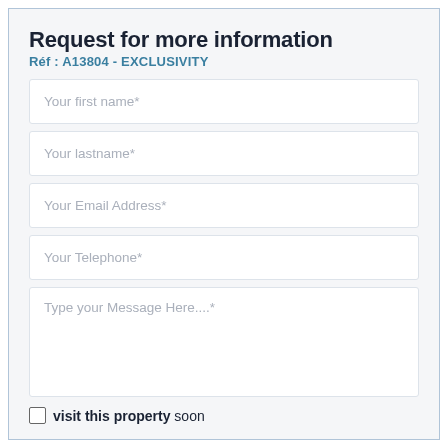Request for more information
Réf : A13804 - EXCLUSIVITY
Your first name*
Your lastname*
Your Email Address*
Your Telephone*
Type your Message Here....*
visit this property soon